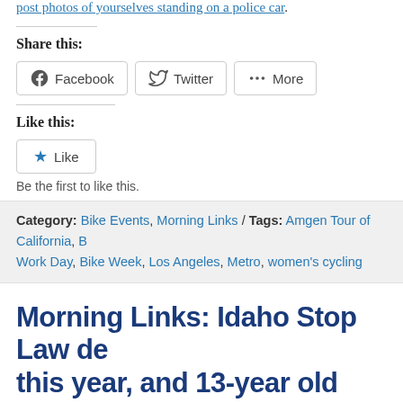post photos of yourselves standing on a police car.
Share this:
Facebook  Twitter  More
Like this:
Like
Be the first to like this.
Category: Bike Events, Morning Links / Tags: Amgen Tour of California, Bike to Work Day, Bike Week, Los Angeles, Metro, women's cycling
Morning Links: Idaho Stop Law de this year, and 13-year old may ha due to misaligned handicap ramp
May 9, 2017 / bikinginla / One comment
So much for that.